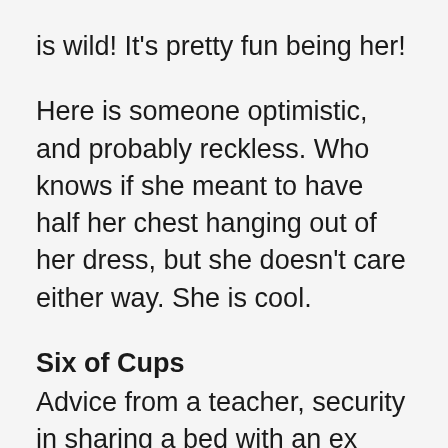is wild! It's pretty fun being her!
Here is someone optimistic, and probably reckless. Who knows if she meant to have half her chest hanging out of her dress, but she doesn't care either way. She is cool.
Six of Cups
Advice from a teacher, security in sharing a bed with an ex who has become a friend, or wisdom from